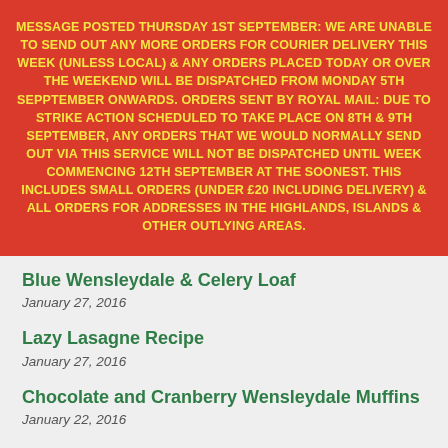MESSAGE POSTED THURSDAY 1ST SEPTEMBER: WE ARE UNABLE TO SEND OUT ANY MORE ORDERS FOR COURIER DELIVERY THIS WEEK (UNLESS LOCAL) & ANY ORDERS PLACED TODAY OR OVER THE WEEKEND WILL BE DISPATCHED FROM MONDAY 5TH SEPPTEMBER ONWARDS. ORDERS SENT BY ROYAL MAIL: DUE TO STRIKE ACTION SCHEDULED TO TAKE PLACE ON 8TH & 9TH SEPTEMBER, ANY ORDERS THAT WE WOULD NORMALLY SEND OUT VIA THIS SERVICE WILL NOT BE DISPATCHED UNTIL WEEK COMMENCING 12TH SEPTEMBER AT THE SOONEST. THIS INCLUDES SMALL ORDERS (UNDER £20 INCLUDING DELIVERY) & ALL ORDERS FOR ADDRESSES IN THE HIGHLANDS, ISLANDS & OTHER OUTLYING AREAS.
Blue Wensleydale & Celery Loaf
January 27, 2016
Lazy Lasagne Recipe
January 27, 2016
Chocolate and Cranberry Wensleydale Muffins
January 22, 2016